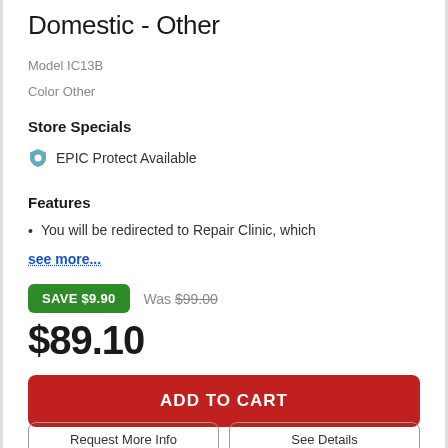Domestic - Other
Model IC13B
Color Other
Store Specials
EPIC Protect Available
Features
You will be redirected to Repair Clinic, which
see more...
SAVE $9.90   Was $99.00
$89.10
ADD TO CART
Request More Info   See Details